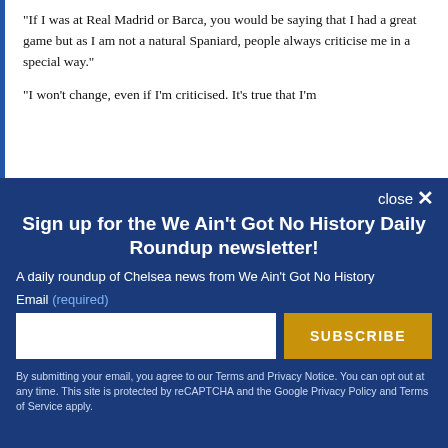"If I was at Real Madrid or Barca, you would be saying that I had a great game but as I am not a natural Spaniard, people always criticise me in a special way."
"I won't change, even if I'm criticised. It's true that I'm
Sign up for the We Ain't Got No History Daily Roundup newsletter!
A daily roundup of Chelsea news from We Ain't Got No History
Email (required)
SUBSCRIBE
By submitting your email, you agree to our Terms and Privacy Notice. You can opt out at any time. This site is protected by reCAPTCHA and the Google Privacy Policy and Terms of Service apply.